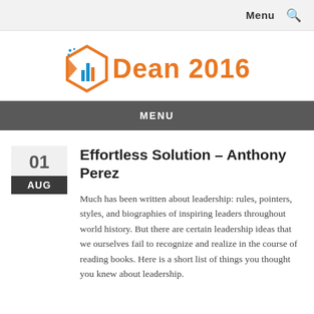Menu 🔍
[Figure (logo): Dean 2016 logo with hexagonal data analytics icon in orange and blue/red colors]
MENU
Effortless Solution – Anthony Perez
Much has been written about leadership: rules, pointers, styles, and biographies of inspiring leaders throughout world history. But there are certain leadership ideas that we ourselves fail to recognize and realize in the course of reading books. Here is a short list of things you thought you knew about leadership.